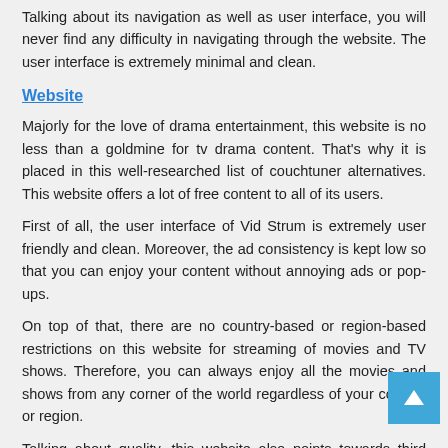Talking about its navigation as well as user interface, you will never find any difficulty in navigating through the website. The user interface is extremely minimal and clean.
Website
Majorly for the love of drama entertainment, this website is no less than a goldmine for tv drama content. That's why it is placed in this well-researched list of couchtuner alternatives. This website offers a lot of free content to all of its users.
First of all, the user interface of Vid Strum is extremely user friendly and clean. Moreover, the ad consistency is kept low so that you can enjoy your content without annoying ads or pop-ups.
On top of that, there are no country-based or region-based restrictions on this website for streaming of movies and TV shows. Therefore, you can always enjoy all the movies and shows from any corner of the world regardless of your content or region.
Talking about quality, this website also points towards third party